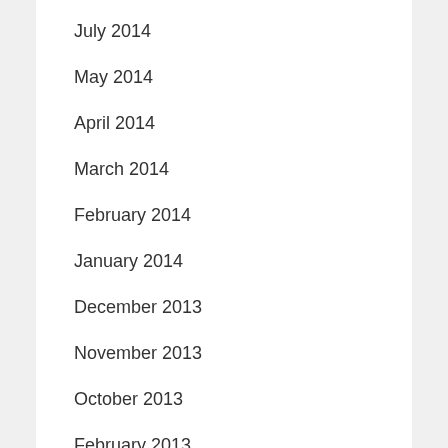July 2014
May 2014
April 2014
March 2014
February 2014
January 2014
December 2013
November 2013
October 2013
February 2013
January 2013
December 2012